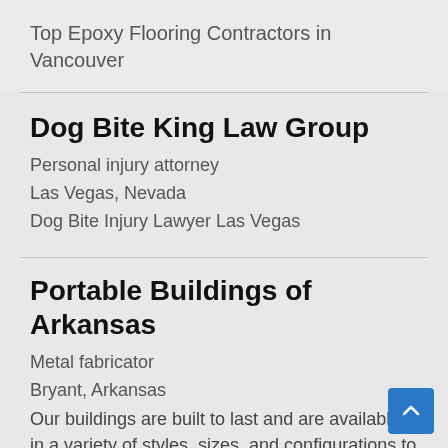Top Epoxy Flooring Contractors in Vancouver
Dog Bite King Law Group
Personal injury attorney
Las Vegas, Nevada
Dog Bite Injury Lawyer Las Vegas
Portable Buildings of Arkansas
Metal fabricator
Bryant, Arkansas
Our buildings are built to last and are available in a variety of styles, sizes, and configurations to meet your needs.